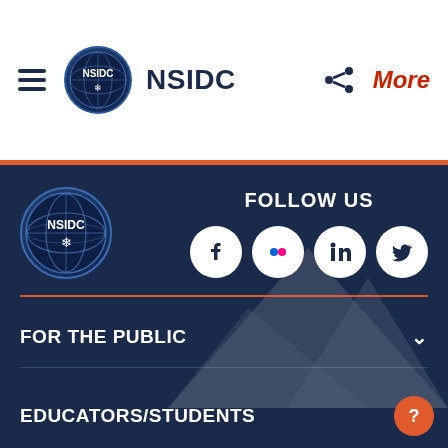[Figure (screenshot): NSIDC website header with hamburger menu, NSIDC logo, NSIDC text, share icon, and More link]
[Figure (logo): NSIDC circular logo in footer with globe/snowflake design]
FOLLOW US
[Figure (infographic): Social media icons: Facebook, Flickr, LinkedIn, Twitter]
FOR THE PUBLIC
EDUCATORS/STUDENTS